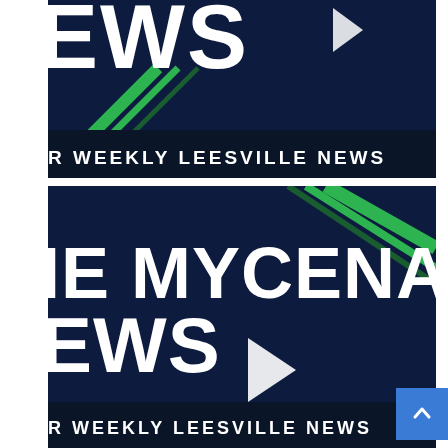[Figure (screenshot): Video thumbnail 1: Dark navy background with large white bold text showing 'EWS' at top and 'R WEEKLY LEESVILLE NEWS' at bottom. Green diagonal stripe decoration on lower left. Partially cropped video thumbnail for a Leesville news broadcast.]
[Figure (screenshot): Video thumbnail 2: Dark navy background with large white bold text showing 'IE MYCENAEA' on upper portion and 'EWS' below. White play button triangle in center. Green diagonal stripe on upper right corner. Bottom banner reads 'R WEEKLY LEESVILLE NEWS'. Scroll-to-top button (blue square with upward caret) in bottom right.]